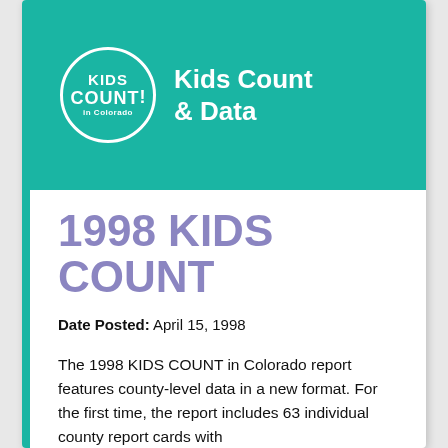[Figure (logo): Kids Count in Colorado logo — circle with KIDS COUNT! text and 'in Colorado', alongside 'Kids Count & Data' header text, on teal background]
1998 KIDS COUNT
Date Posted: April 15, 1998
The 1998 KIDS COUNT in Colorado report features county-level data in a new format. For the first time, the report includes 63 individual county report cards with